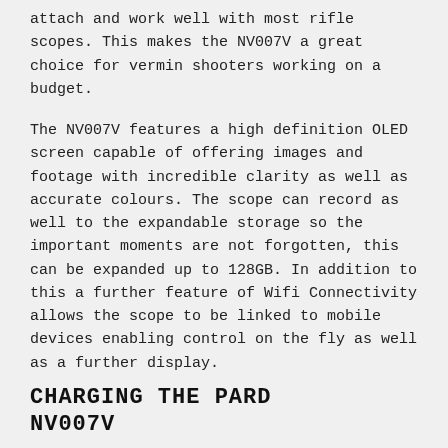attach and work well with most rifle scopes. This makes the NV007V a great choice for vermin shooters working on a budget.
The NV007V features a high definition OLED screen capable of offering images and footage with incredible clarity as well as accurate colours. The scope can record as well to the expandable storage so the important moments are not forgotten, this can be expanded up to 128GB. In addition to this a further feature of Wifi Connectivity allows the scope to be linked to mobile devices enabling control on the fly as well as a further display.
CHARGING THE PARD NV007V